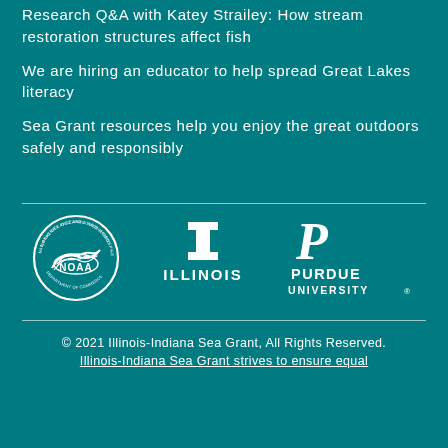Research Q&A with Katey Strailey: How stream restoration structures affect fish
We are hiring an educator to help spread Great Lakes literacy
Sea Grant resources help you enjoy the great outdoors safely and responsibly
[Figure (logo): NOAA (National Oceanic and Atmospheric Administration) circular logo in white on teal background]
[Figure (logo): University of Illinois logo with block I above ILLINOIS text in white on teal]
[Figure (logo): Purdue University logo with stylized P above PURDUE UNIVERSITY text in white on teal]
© 2021 Illinois-Indiana Sea Grant, All Rights Reserved. Illinois-Indiana Sea Grant strives to ensure equal